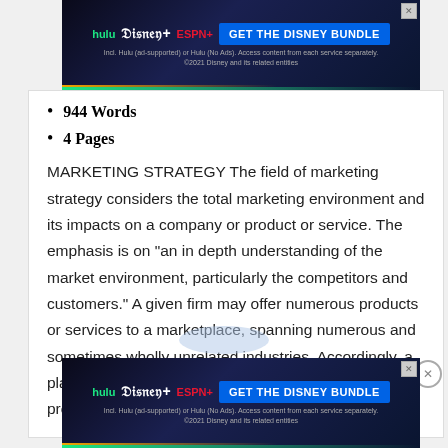[Figure (screenshot): Disney Bundle advertisement banner with Hulu, Disney+, ESPN+ logos and GET THE DISNEY BUNDLE button on dark background]
944 Words
4 Pages
MARKETING STRATEGY The field of marketing strategy considers the total marketing environment and its impacts on a company or product or service. The emphasis is on "an in depth understanding of the market environment, particularly the competitors and customers." A given firm may offer numerous products or services to a marketplace, spanning numerous and sometimes wholly unrelated industries. Accordingly, a plan is required in order to effectively manage such products. Evidently, a company needs…
[Figure (screenshot): Disney Bundle advertisement banner with Hulu, Disney+, ESPN+ logos and GET THE DISNEY BUNDLE button on dark background (bottom)]